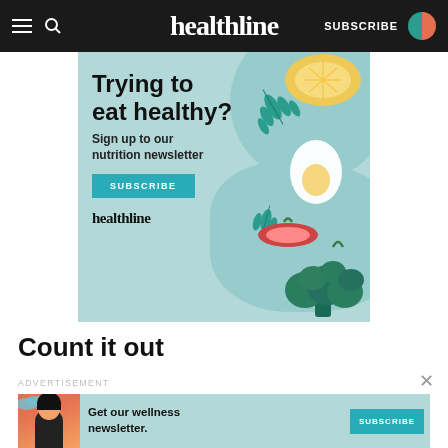healthline  SUBSCRIBE
[Figure (illustration): Healthline nutrition newsletter advertisement banner with teal background, illustrated food items (lemon, arugula leaves, egg, tomatoes, broccoli), headline 'Trying to eat healthy?', subtext 'Sign up to our nutrition newsletter', SUBSCRIBE button, and healthline logo]
Count it out
ADVERTISEMENT
[Figure (illustration): Healthline wellness newsletter advertisement banner with teal background and illustrated woman, text 'Get our wellness newsletter.' with a teal SUBSCRIBE button]